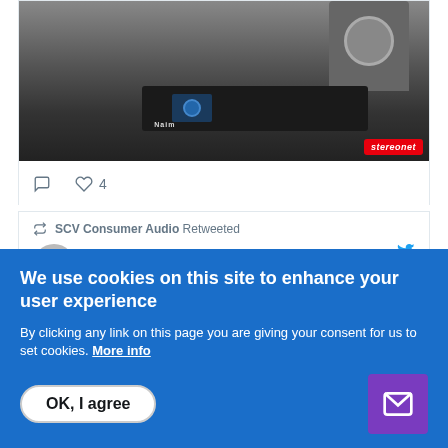[Figure (photo): Photo of a Naim audio streaming device (black box with small screen) on a surface with a speaker in background, stereonet badge in bottom right]
♡ 4
SCV Consumer Audio Retweeted
NtraXMartin @ntra_x · Aug 16
@IsoAcoustics for my @NaimAudio setup.
Categories
We use cookies on this site to enhance your user experience
By clicking any link on this page you are giving your consent for us to set cookies. More info
OK, I agree